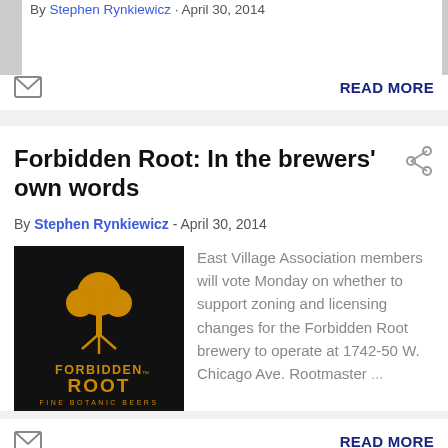By Stephen Rynkiewicz · April 30, 2014
READ MORE
Forbidden Root: In the brewers' own words
By Stephen Rynkiewicz - April 30, 2014
[Figure (logo): Forbidden Root Fine Botanic Beers logo — black background with orange tree and text]
East Village Association members will vote Monday on whether to support zoning and licensing changes for the Forbidden Root brewery to operate at 1742-50 W. Chicago Ave. Rootmaster ...
READ MORE